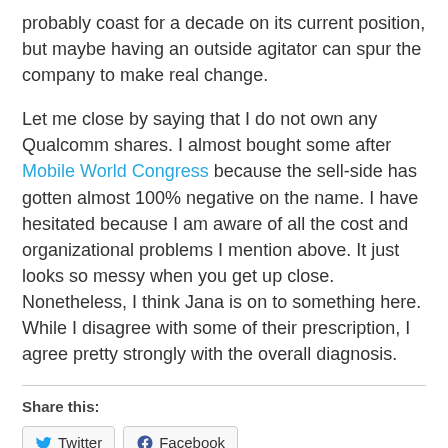probably coast for a decade on its current position, but maybe having an outside agitator can spur the company to make real change.
Let me close by saying that I do not own any Qualcomm shares. I almost bought some after Mobile World Congress because the sell-side has gotten almost 100% negative on the name. I have hesitated because I am aware of all the cost and organizational problems I mention above. It just looks so messy when you get up close. Nonetheless, I think Jana is on to something here. While I disagree with some of their prescription, I agree pretty strongly with the overall diagnosis.
Share this:
Twitter Facebook